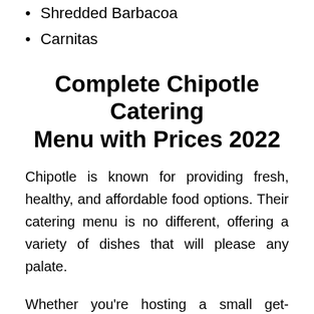Shredded Barbacoa
Carnitas
Complete Chipotle Catering Menu with Prices 2022
Chipotle is known for providing fresh, healthy, and affordable food options. Their catering menu is no different, offering a variety of dishes that will please any palate.
Whether you’re hosting a small get-together or a large event, Chipotle has you covered. Chipotle Prices for their catering services start at just $6.50 per person. Read on to learn more about the